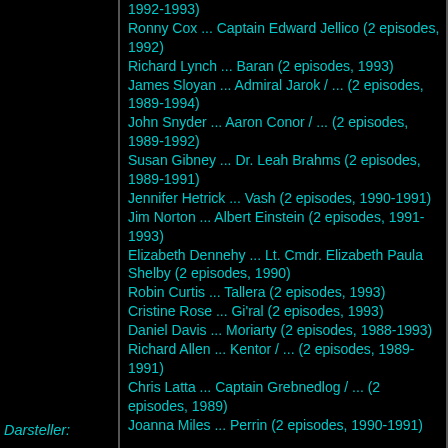1992-1993)
Ronny Cox ... Captain Edward Jellico (2 episodes, 1992)
Richard Lynch ... Baran (2 episodes, 1993)
James Sloyan ... Admiral Jarok / ... (2 episodes, 1989-1994)
John Snyder ... Aaron Conor / ... (2 episodes, 1989-1992)
Susan Gibney ... Dr. Leah Brahms (2 episodes, 1989-1991)
Jennifer Hetrick ... Vash (2 episodes, 1990-1991)
Jim Norton ... Albert Einstein (2 episodes, 1991-1993)
Elizabeth Dennehy ... Lt. Cmdr. Elizabeth Paula Shelby (2 episodes, 1990)
Robin Curtis ... Tallera (2 episodes, 1993)
Cristine Rose ... Gi'ral (2 episodes, 1993)
Daniel Davis ... Moriarty (2 episodes, 1988-1993)
Richard Allen ... Kentor / ... (2 episodes, 1989-1991)
Darsteller:
Chris Latta ... Captain Grebnedlog / ... (2 episodes, 1989)
Joanna Miles ... Perrin (2 episodes, 1990-1991)